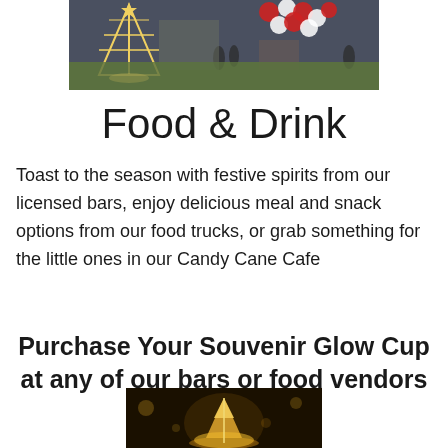[Figure (photo): Indoor Christmas market or event venue with a large lit Christmas tree structure made of lights, red and white balloon arch decoration, green grass flooring, and people in the background]
Food & Drink
Toast to the season with festive spirits from our licensed bars, enjoy delicious meal and snack options from our food trucks, or grab something for the little ones in our Candy Cane Cafe
Purchase Your Souvenir Glow Cup at any of our bars or food vendors
[Figure (photo): A glowing souvenir cup or spinning top with golden warm light against a dark background, positioned on a surface with bokeh lights in the background]